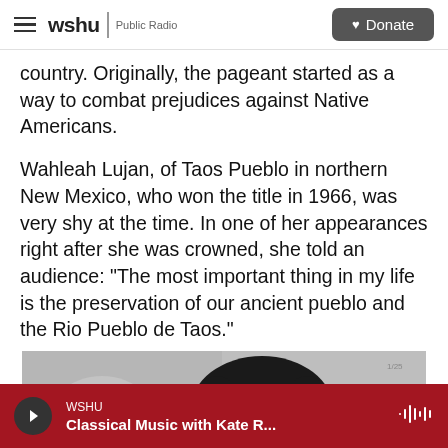wshu | Public Radio  [Donate button]
country. Originally, the pageant started as a way to combat prejudices against Native Americans.
Wahleah Lujan, of Taos Pueblo in northern New Mexico, who won the title in 1966, was very shy at the time. In one of her appearances right after she was crowned, she told an audience: "The most important thing in my life is the preservation of our ancient pueblo and the Rio Pueblo de Taos."
[Figure (photo): Black and white photograph of a young woman with dark hair, partially cropped, facing slightly downward.]
WSHU Classical Music with Kate R...